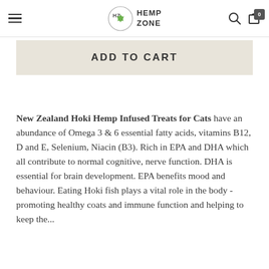Hemp Zone — navigation bar with hamburger menu, logo, search icon, and cart (0)
ADD TO CART
New Zealand Hoki Hemp Infused Treats for Cats have an abundance of Omega 3 & 6 essential fatty acids, vitamins B12, D and E, Selenium, Niacin (B3). Rich in EPA and DHA which all contribute to normal cognitive, nerve function. DHA is essential for brain development. EPA benefits mood and behaviour. Eating Hoki fish plays a vital role in the body - promoting healthy coats and immune function and helping to keep the...